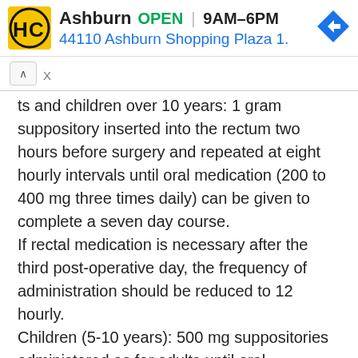[Figure (screenshot): Advertisement banner for Hairclub (HC) at Ashburn location showing yellow logo, store name, OPEN status, hours 9AM-6PM, address 44110 Ashburn Shopping Plaza 1., and a blue navigation arrow icon]
ts and children over 10 years: 1 gram suppository inserted into the rectum two hours before surgery and repeated at eight hourly intervals until oral medication (200 to 400 mg three times daily) can be given to complete a seven day course. If rectal medication is necessary after the third post-operative day, the frequency of administration should be reduced to 12 hourly. Children (5-10 years): 500 mg suppositories administered as for adults until oral medication (3.7 to 7.5 mg/kg bodyweight three times daily)